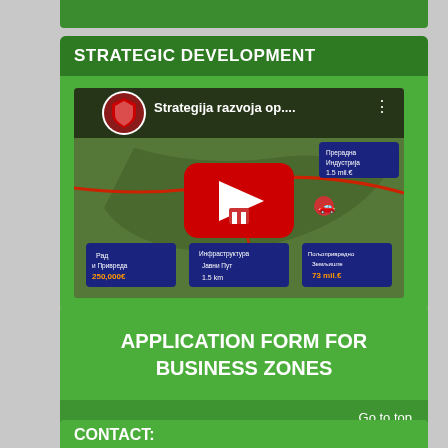STRATEGIC DEVELOPMENT
[Figure (screenshot): YouTube video thumbnail showing 'Strategija razvoja op...' with a map/aerial view, a red play button, a channel logo on the left, and blue info boxes overlaid on the image with Serbian text.]
APPLICATION FORM FOR BUSINESS ZONES
Go to top
CONTACT: